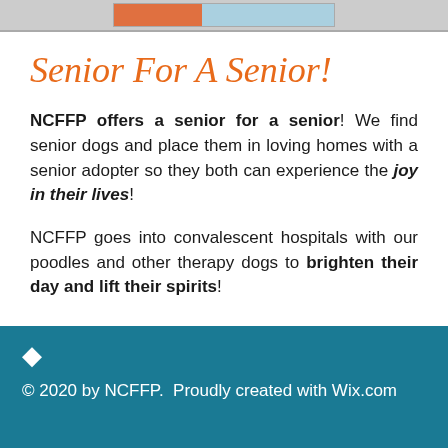[Figure (photo): Partial image visible at top of page showing a dog or scene related to NCFFP]
Senior For A Senior!
NCFFP offers a senior for a senior! We find senior dogs and place them in loving homes with a senior adopter so they both can experience the joy in their lives!
NCFFP goes into convalescent hospitals with our poodles and other therapy dogs to brighten their day and lift their spirits!
© 2020 by NCFFP.  Proudly created with Wix.com